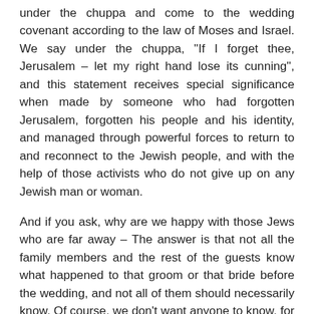under the chuppa and come to the wedding covenant according to the law of Moses and Israel. We say under the chuppa, "If I forget thee, Jerusalem – let my right hand lose its cunning", and this statement receives special significance when made by someone who had forgotten Jerusalem, forgotten his people and his identity, and managed through powerful forces to return to and reconnect to the Jewish people, and with the help of those activists who do not give up on any Jewish man or woman.
And if you ask, why are we happy with those Jews who are far away – The answer is that not all the family members and the rest of the guests know what happened to that groom or that bride before the wedding, and not all of them should necessarily know. Of course, we don't want anyone to know, for who is greater than a ba'al teshuva, who stands where pure Tzadikim cannot stand. Our Sages taught us that the day of the wedding is like Yom Kippur, which atones for all the sins of the